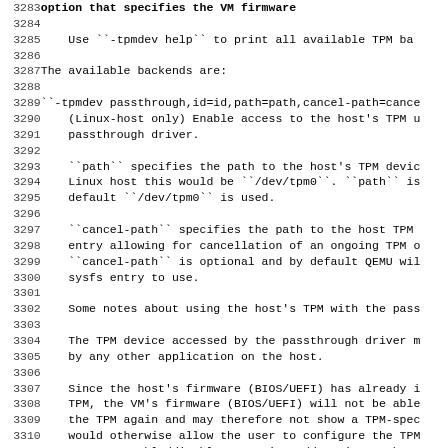3283  (truncated top line) option that specifies the VM firmware...
3284
3285      Use ``-tpmdev help`` to print all available TPM ba...
3286
3287  The available backends are:
3288
3289  ``-tpmdev passthrough,id=id,path=path,cancel-path=cance...
3290      (Linux-host only) Enable access to the host's TPM u...
3291      passthrough driver.
3292
3293      ``path`` specifies the path to the host's TPM devic...
3294      Linux host this would be ``/dev/tpm0``. ``path`` is...
3295      default ``/dev/tpm0`` is used.
3296
3297      ``cancel-path`` specifies the path to the host TPM ...
3298      entry allowing for cancellation of an ongoing TPM o...
3299      ``cancel-path`` is optional and by default QEMU wil...
3300      sysfs entry to use.
3301
3302      Some notes about using the host's TPM with the pass...
3303
3304      The TPM device accessed by the passthrough driver m...
3305      by any other application on the host.
3306
3307      Since the host's firmware (BIOS/UEFI) has already i...
3308      TPM, the VM's firmware (BIOS/UEFI) will not be able...
3309      the TPM again and may therefore not show a TPM-spec...
3310      would otherwise allow the user to configure the TPM...
3311      user to enable/disable or activate/deactivate the T...
3312      TPM ownership is released from within a VM then the...
3313      get disabled and deactivated. To enable and activat...
3314      afterwards, the host has to be rebooted and the use...
3315      enter the firmware's menu to enable and activate t...